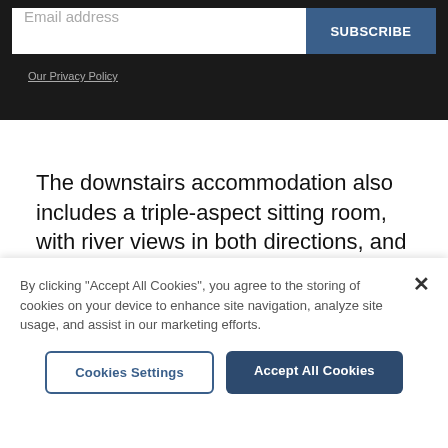[Figure (screenshot): Email subscription bar with white input field showing 'Email address' placeholder and a dark blue 'SUBSCRIBE' button on a dark/black background]
Our Privacy Policy
The downstairs accommodation also includes a triple-aspect sitting room, with river views in both directions, and a cosy study.
[Figure (photo): Sky photograph with clouds, light blue and pale peach tones]
By clicking "Accept All Cookies", you agree to the storing of cookies on your device to enhance site navigation, analyze site usage, and assist in our marketing efforts.
Cookies Settings
Accept All Cookies